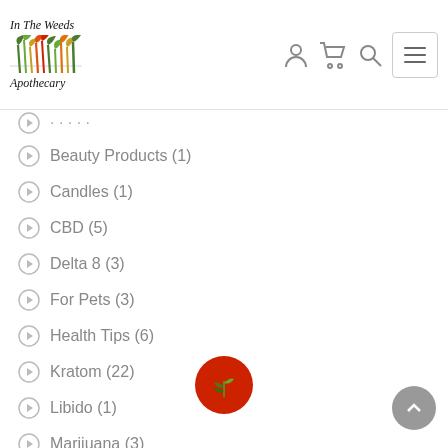In The Weeds Apothecary
Beauty Products (1)
Candles (1)
CBD (5)
Delta 8 (3)
For Pets (3)
Health Tips (6)
Kratom (22)
Libido (1)
Marijuana (3)
Natural Cosmetics (1)
Organic Foods (3)
Pain Management (13)